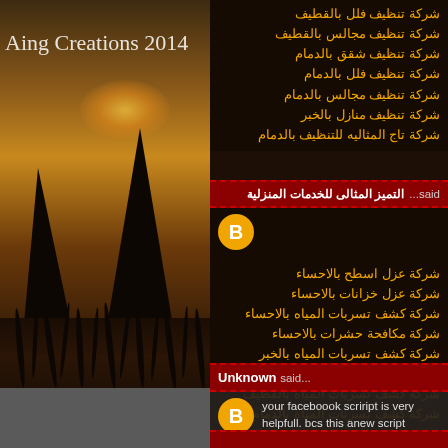[Figure (illustration): Dark atmospheric landscape with silhouetted trees and grass against warm orange/amber sunset sky. Blogger watermark 'Aing Creations 2014' in top-left corner.]
شركة تنظيف فلل بالقطيف
شركة تنظيف مجالس بالقطيف
شركة تنظيف شقق بالدمام
شركة تنظيف فلل بالدمام
شركة تنظيف مجالس بالدمام
شركة تنظيف منازل بالخبر
شركة تاج المثاليه للتنظيف بالدمام
التميز المثالى للخدمات المنزلية said...
شركة عزل اسطح بالاحساء
شركة عزل خزانات بالاحساء
شركة كشف تسربات المياه بالاحساء
شركة مكافحة حشرات بالاحساء
شركة كشف تسربات المياه بالخبر
شركة كشف تسربات المياه بالجبيل
شركة كشف تسربات المياه بالقطيف
شركة كشف تسربات المياه بالدمام
Unknown said...
your faceboook scriript is very helpfull. bcs this anew script